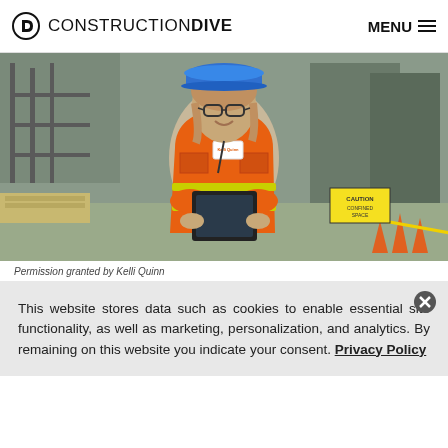CONSTRUCTION DIVE   MENU
[Figure (photo): Woman in orange safety vest and blue hard hat holding a tablet, standing on a construction site with scaffolding and orange cones in background.]
Permission granted by Kelli Quinn
This website stores data such as cookies to enable essential site functionality, as well as marketing, personalization, and analytics. By remaining on this website you indicate your consent. Privacy Policy